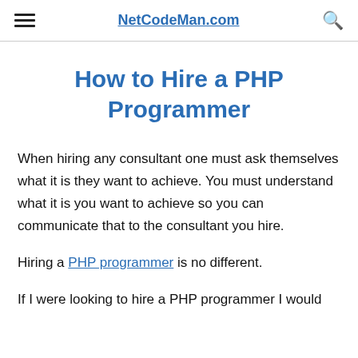NetCodeMan.com
How to Hire a PHP Programmer
When hiring any consultant one must ask themselves what it is they want to achieve. You must understand what it is you want to achieve so you can communicate that to the consultant you hire.
Hiring a PHP programmer is no different.
If I were looking to hire a PHP programmer I would